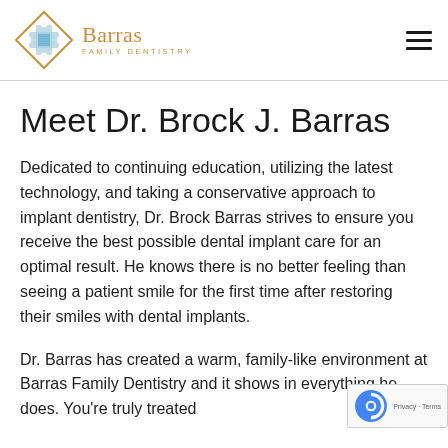Barras Family Dentistry
Meet Dr. Brock J. Barras
Dedicated to continuing education, utilizing the latest technology, and taking a conservative approach to implant dentistry, Dr. Brock Barras strives to ensure you receive the best possible dental implant care for an optimal result. He knows there is no better feeling than seeing a patient smile for the first time after restoring their smiles with dental implants.
Dr. Barras has created a warm, family-like environment at Barras Family Dentistry and it shows in everything he does. You're truly treated